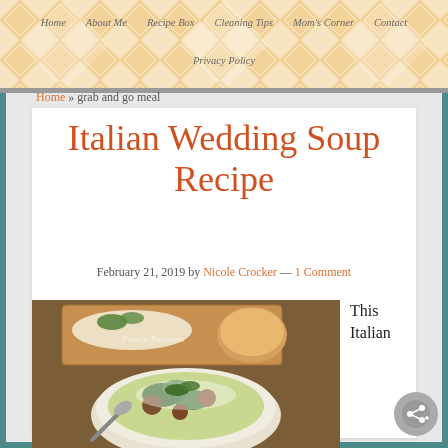Home | About Me | Recipe Box | Cleaning Tips | Mom's Corner | Contact | Privacy Policy
Home » grab and go meal
Italian Wedding Soup Recipe
February 21, 2019 by Nicole Crocker — 1 Comment
[Figure (photo): Bowl of Italian Wedding Soup with meatballs, greens, and pasta, garnished with parsley and parmesan, served with bread on a wooden board. Watermark reads 'Family Treasures'.]
This Italian